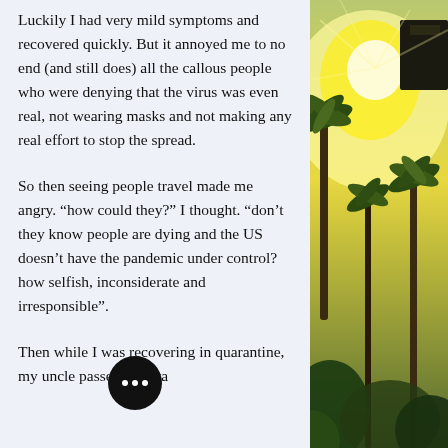Luckily I had very mild symptoms and recovered quickly. But it annoyed me to no end (and still does) all the callous people who were denying that the virus was even real, not wearing masks and not making any real effort to stop the spread.
So then seeing people travel made me angry. “how could they?” I thought. “don’t they know people are dying and the US doesn’t have the pandemic under control? how selfish, inconsiderate and irresponsible”.
Then while I was recovering in quarantine, my uncle passed. He wa...
[Figure (photo): Sunlit tropical scene with palm trees and bright golden sunlight, partially visible on the right side of the page]